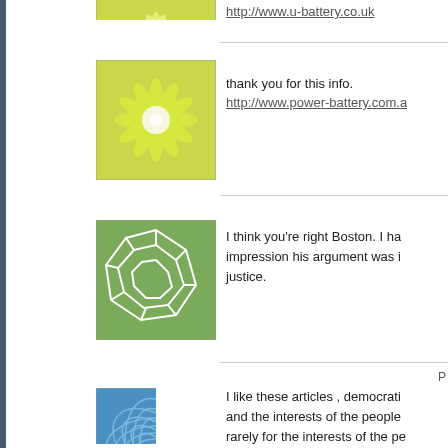[Figure (illustration): Green floral/mandala pattern avatar icon (partially visible at top)]
http://www.u-battery.co.uk
[Figure (illustration): Green floral/star pattern avatar icon]
thank you for this info.
http://www.power-battery.com.a
[Figure (illustration): Green geometric/hexagon pattern avatar icon]
I think you're right Boston. I ha… impression his argument was i… justice.
P
[Figure (illustration): Blue wave/grid pattern avatar icon]
I like these articles , democrati… and the interests of the people… rarely for the interests of the pe… of many democracy, I like the v…
http://www.cheapsaleing.com
http://www.nikeairmaxshoe.ocr